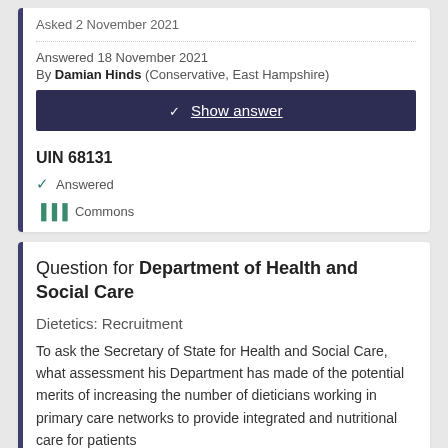Asked 2 November 2021
Answered 18 November 2021
By Damian Hinds (Conservative, East Hampshire)
✓ Show answer
UIN 68131
✓ Answered
Commons
Question for Department of Health and Social Care
Dietetics: Recruitment
To ask the Secretary of State for Health and Social Care, what assessment his Department has made of the potential merits of increasing the number of dieticians working in primary care networks to provide integrated and nutritional care for patients